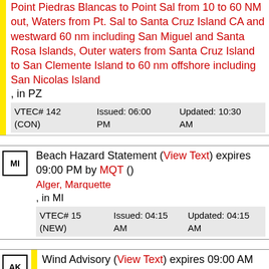Point Piedras Blancas to Point Sal from 10 to 60 NM out, Waters from Pt. Sal to Santa Cruz Island CA and westward 60 nm including San Miguel and Santa Rosa Islands, Outer waters from Santa Cruz Island to San Clemente Island to 60 nm offshore including San Nicolas Island, in PZ
| VTEC# 142 (CON) | Issued: 06:00 PM | Updated: 10:30 AM |
Beach Hazard Statement (View Text) expires 09:00 PM by MQT () Alger, Marquette, in MI
| VTEC# 15 (NEW) | Issued: 04:15 AM | Updated: 04:15 AM |
Wind Advisory (View Text) expires 09:00 AM by AFG ()
Eastern Alaska Range, Deltana and Tanana Flats,